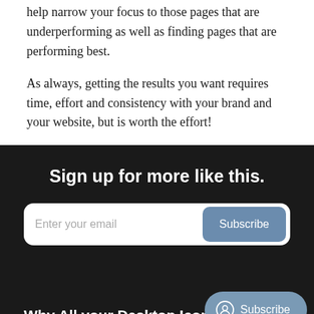help narrow your focus to those pages that are underperforming as well as finding pages that are performing best.
As always, getting the results you want requires time, effort and consistency with your brand and your website, but is worth the effort!
Sign up for more like this.
Enter your email
Subscribe
Subscribe
Why All your Desktop Icons Suddenly